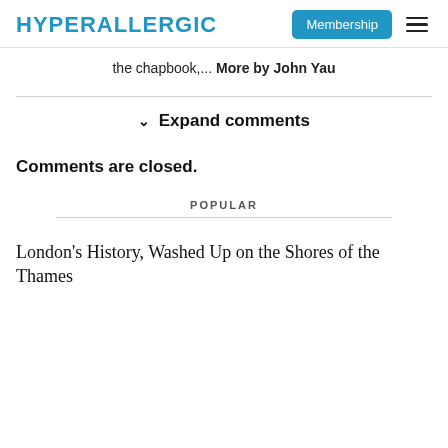HYPERALLERGIC  Membership ≡
the chapbook,... More by John Yau
∨ Expand comments
Comments are closed.
POPULAR
London's History, Washed Up on the Shores of the Thames